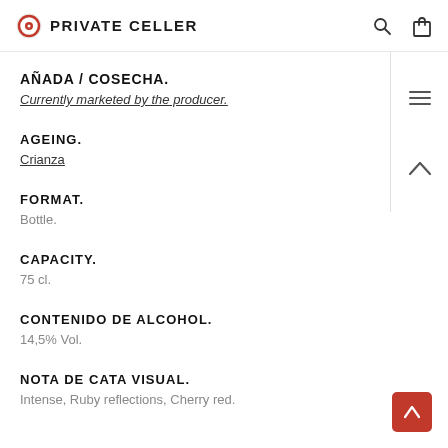PRIVATE CELLER
AÑADA / COSECHA.
Currently marketed by the producer.
AGEING.
Crianza
FORMAT.
Bottle.
CAPACITY.
75 cl.
CONTENIDO DE ALCOHOL.
14,5% Vol.
NOTA DE CATA VISUAL.
Intense, Ruby reflections, Cherry red.